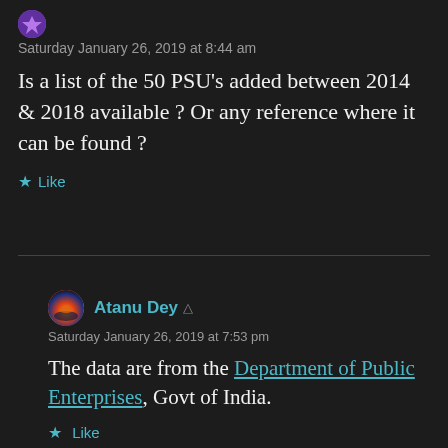Saturday January 26, 2019 at 8:44 am
Is a list of the 50 PSU's added between 2014 & 2018 available ? Or any reference where it can be found ?
Like
Atanu Dey
Saturday January 26, 2019 at 7:53 pm
The data are from the Department of Public Enterprises, Govt of India.
Like